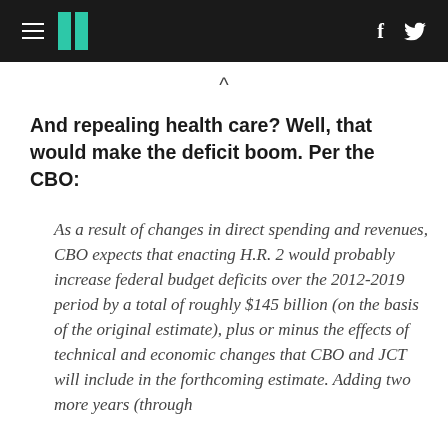HuffPost navigation bar with hamburger menu, logo, Facebook and Twitter icons
And repealing health care? Well, that would make the deficit boom. Per the CBO:
As a result of changes in direct spending and revenues, CBO expects that enacting H.R. 2 would probably increase federal budget deficits over the 2012-2019 period by a total of roughly $145 billion (on the basis of the original estimate), plus or minus the effects of technical and economic changes that CBO and JCT will include in the forthcoming estimate. Adding two more years (through